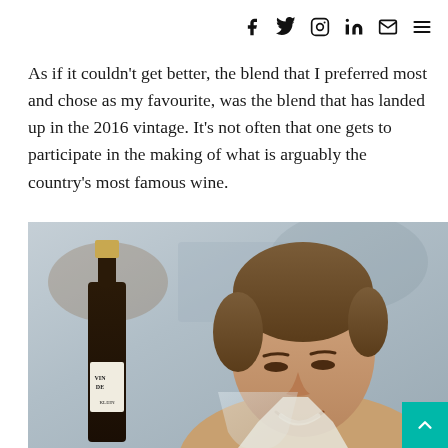Social media navigation icons: f (Facebook), Twitter, Instagram, LinkedIn, Email, Menu
As if it couldn't get better, the blend that I preferred most and chose as my favourite, was the blend that has landed up in the 2016 vintage. It's not often that one gets to participate in the making of what is arguably the country's most famous wine.
[Figure (photo): A smiling young man with brown hair looking down at a wine glass, with a dark wine bottle labeled 'VIN DE' and 'KLEIN' visible to his left, photographed in a bright interior setting.]